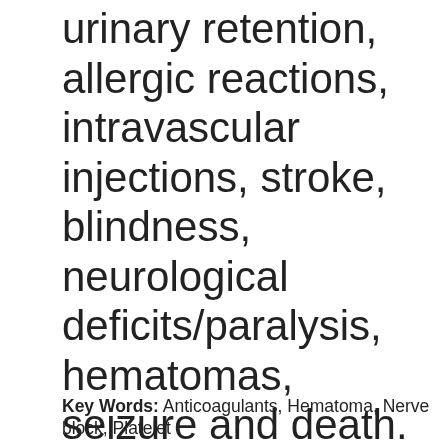urinary retention, allergic reactions, intravascular injections, stroke, blindness, neurological deficits/paralysis, hematomas, seizure and death. We present herein a case of TFSEB induced retroperitoneal hematoma resolution with conservative treatment.
Key Words: Anticoagulants, Hematoma, Nerve block, Platelet